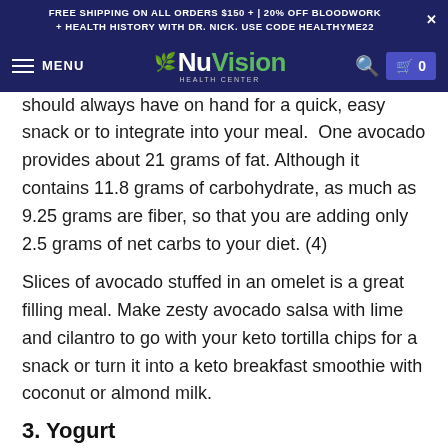FREE SHIPPING ON ALL ORDERS $150 + | 20% OFF BLOODWORK + HEALTH HISTORY WITH DR. NICK. USE CODE HEALTHYME22
[Figure (logo): NuVision Health Center logo with hamburger menu, search icon, and cart showing 0 items on dark blue navigation bar]
should always have on hand for a quick, easy snack or to integrate into your meal. One avocado provides about 21 grams of fat. Although it contains 11.8 grams of carbohydrate, as much as 9.25 grams are fiber, so that you are adding only 2.5 grams of net carbs to your diet. (4)
Slices of avocado stuffed in an omelet is a great filling meal. Make zesty avocado salsa with lime and cilantro to go with your keto tortilla chips for a snack or turn it into a keto breakfast smoothie with coconut or almond milk.
3. Yogurt